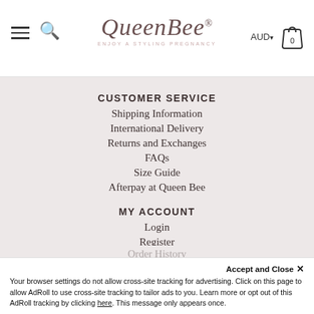QueenBee — ENJOY A STYLING PREGNANCY | AUD | Cart
CUSTOMER SERVICE
Shipping Information
International Delivery
Returns and Exchanges
FAQs
Size Guide
Afterpay at Queen Bee
MY ACCOUNT
Login
Register
Order History
Accept and Close ✕
Your browser settings do not allow cross-site tracking for advertising. Click on this page to allow AdRoll to use cross-site tracking to tailor ads to you. Learn more or opt out of this AdRoll tracking by clicking here. This message only appears once.